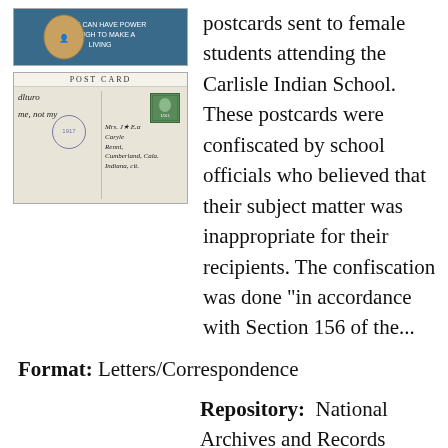[Figure (photo): Top postcard image showing illustrated front of postcard with blue background and text]
[Figure (photo): Handwritten postcard back showing POST CARD header, green stamp, purple cancellation mark, and handwritten address and message]
postcards sent to female students attending the Carlisle Indian School. These postcards were confiscated by school officials who believed that their subject matter was inappropriate for their recipients. The confiscation was done "in accordance with Section 156 of the...
Format: Letters/Correspondence
Repository:  National Archives and Records Administration
[Figure (photo): Small thumbnail image of a document]
Graduation Policies for the Class of 1917...